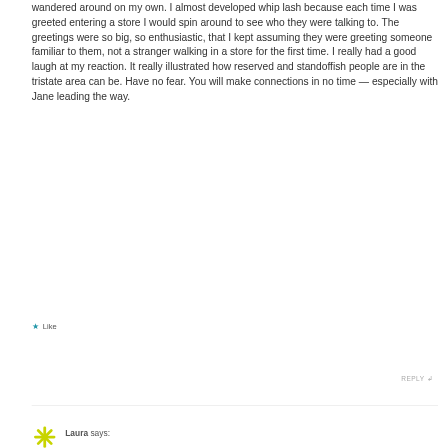wandered around on my own. I almost developed whip lash because each time I was greeted entering a store I would spin around to see who they were talking to. The greetings were so big, so enthusiastic, that I kept assuming they were greeting someone familiar to them, not a stranger walking in a store for the first time. I really had a good laugh at my reaction. It really illustrated how reserved and standoffish people are in the tristate area can be. Have no fear. You will make connections in no time — especially with Jane leading the way.
★ Like
REPLY ↩
Laura says: